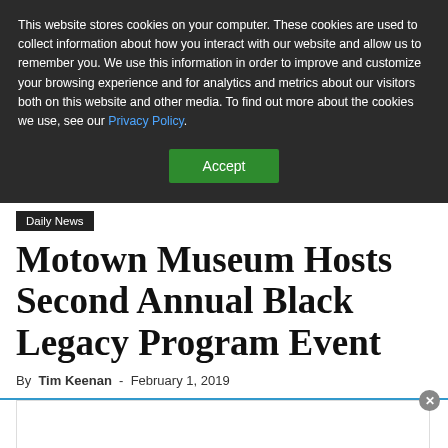This website stores cookies on your computer. These cookies are used to collect information about how you interact with our website and allow us to remember you. We use this information in order to improve and customize your browsing experience and for analytics and metrics about our visitors both on this website and other media. To find out more about the cookies we use, see our Privacy Policy.
Accept
Daily News
Motown Museum Hosts Second Annual Black Legacy Program Event
By Tim Keenan - February 1, 2019